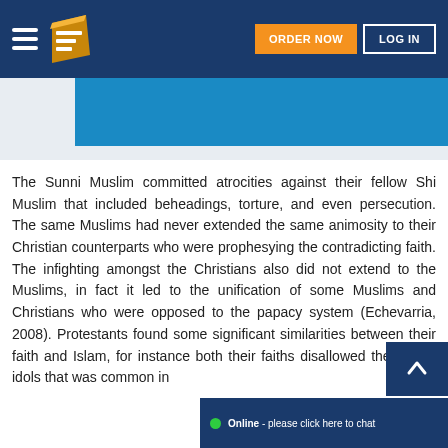ORDER NOW | LOG IN
[Figure (screenshot): Website navigation bar with hamburger menu, logo icon, orange ORDER NOW button, and white LOG IN button on dark blue background]
The Sunni Muslim committed atrocities against their fellow Shi Muslim that included beheadings, torture, and even persecution. The same Muslims had never extended the same animosity to their Christian counterparts who were prophesying the contradicting faith. The infighting amongst the Christians also did not extend to the Muslims, in fact it led to the unification of some Muslims and Christians who were opposed to the papacy system (Echevarria, 2008). Protestants found some significant similarities between their faith and Islam, for instance both their faiths disallowed the use of idols that was common in
[Figure (screenshot): Online chat widget - green dot with 'Online - please click here to chat' on dark blue background]
[Figure (screenshot): Scroll to top arrow button on dark blue background]